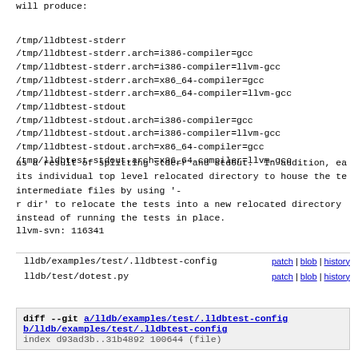will produce:

/tmp/lldbtest-stderr
/tmp/lldbtest-stderr.arch=i386-compiler=gcc
/tmp/lldbtest-stderr.arch=i386-compiler=llvm-gcc
/tmp/lldbtest-stderr.arch=x86_64-compiler=gcc
/tmp/lldbtest-stderr.arch=x86_64-compiler=llvm-gcc
/tmp/lldbtest-stdout
/tmp/lldbtest-stdout.arch=i386-compiler=gcc
/tmp/lldbtest-stdout.arch=i386-compiler=llvm-gcc
/tmp/lldbtest-stdout.arch=x86_64-compiler=gcc
/tmp/lldbtest-stdout.arch=x86_64-compiler=llvm-gcc
as a result of splitting stderr and stdout.  In addition, ea
its individual top level relocated directory to house the te
intermediate files by using '-
r dir' to relocate the tests into a new relocated directory
instead of running the tests in place.
llvm-svn: 116341
| File | Actions |
| --- | --- |
| lldb/examples/test/.lldbtest-config | patch | blob | history |
| lldb/test/dotest.py | patch | blob | history |
diff --git a/lldb/examples/test/.lldbtest-config b/lldb/examples/test/.lldbtest-config
index d93ad3b..31b4892 100644 (file)